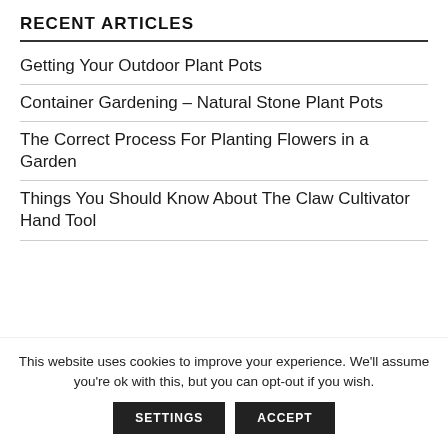RECENT ARTICLES
Getting Your Outdoor Plant Pots
Container Gardening – Natural Stone Plant Pots
The Correct Process For Planting Flowers in a Garden
Things You Should Know About The Claw Cultivator Hand Tool
This website uses cookies to improve your experience. We'll assume you're ok with this, but you can opt-out if you wish.